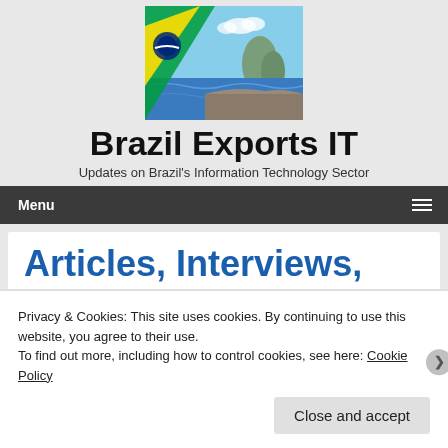[Figure (photo): Brazil flag with Rio de Janeiro landscape in the background - website header banner image]
Brazil Exports IT
Updates on Brazil's Information Technology Sector
Menu
Articles, Interviews,
Privacy & Cookies: This site uses cookies. By continuing to use this website, you agree to their use.
To find out more, including how to control cookies, see here: Cookie Policy
Close and accept